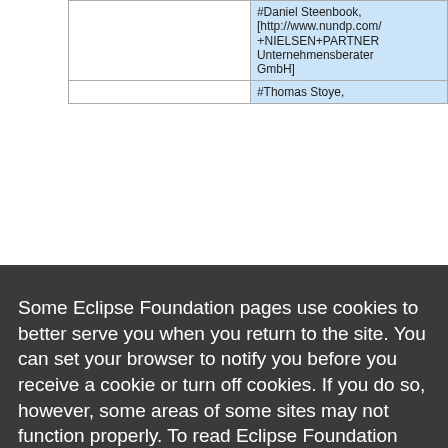|  | #Daniel Steenbook,
[http://www.nundp.com/
NIELSEN+PARTNER
Unternehmensberater
GmbH] |
|  | #Thomas Stoye, |
Some Eclipse Foundation pages use cookies to better serve you when you return to the site. You can set your browser to notify you before you receive a cookie or turn off cookies. If you do so, however, some areas of some sites may not function properly. To read Eclipse Foundation Privacy Policy click here.
Decline
Allow cookies
|  | Techniker
Krankenkasse] |